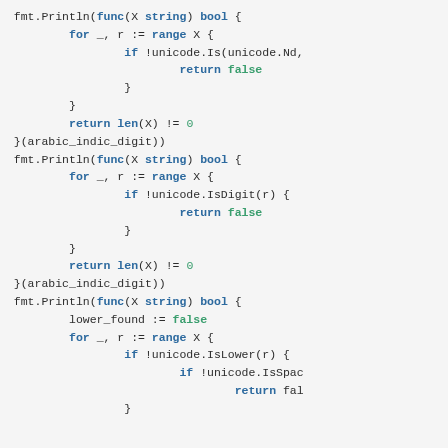[Figure (screenshot): Code snippet in Go language showing fmt.Println calls with anonymous functions that iterate over string X using unicode package functions (Is, IsDigit, IsLower, IsSpace), returning false or len(X) != 0, with arabic_indic_digit argument.]